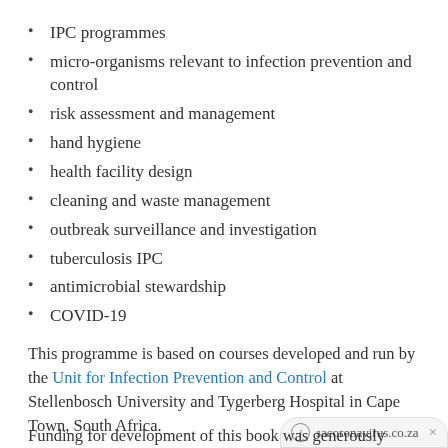IPC programmes
micro-organisms relevant to infection prevention and control
risk assessment and management
hand hygiene
health facility design
cleaning and waste management
outbreak surveillance and investigation
tuberculosis IPC
antimicrobial stewardship
COVID-19
This programme is based on courses developed and run by the Unit for Infection Prevention and Control at Stellenbosch University and Tygerberg Hospital in Cape Town, South Africa.
sacoronavirus.co.za
Funding for development of this book was generously